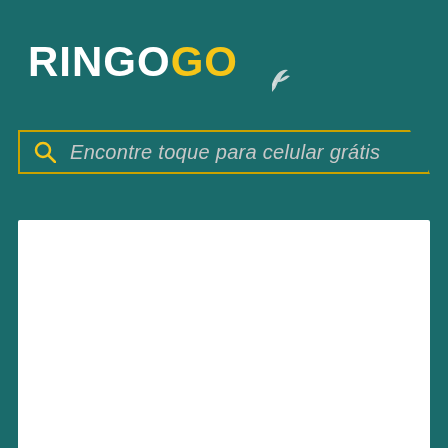[Figure (logo): RINGOGO logo with white RINGO text and yellow GO text, with a small bird silhouette above the GO]
Encontre toque para celular grátis
[Figure (other): White content area / panel below the search bar]